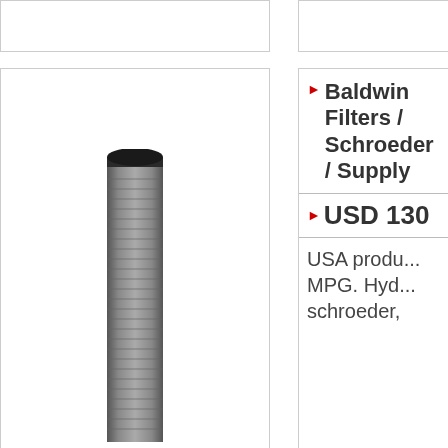[Figure (photo): Top-left product image box (partially visible, cropped at top)]
[Figure (photo): Top-right product image box (partially visible, cropped at top)]
[Figure (photo): Left panel showing a cylindrical hydraulic filter element, dark metallic, vertical orientation]
Baldwin Filters / Schroeder / Supply
USD 130
USA produ... MPG. Hyd... schroeder,